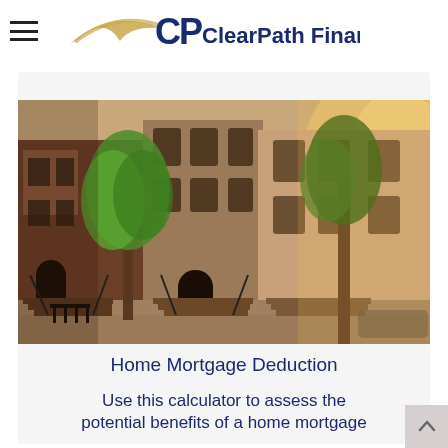[Figure (logo): ClearPath Financial logo with CP monogram and swoosh graphic]
[Figure (photo): Row of brownstone townhouses with trees and staircases on a city street]
Home Mortgage Deduction
Use this calculator to assess the potential benefits of a home mortgage